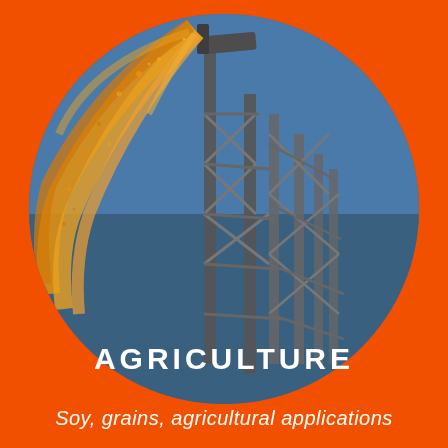[Figure (photo): Circular photo showing grain being poured from a tall metal conveyor tower structure against a blue sky background. The grain forms a dramatic arc of golden/yellow color spraying outward from the top of the tower.]
AGRICULTURE
Soy, grains, agricultural applications